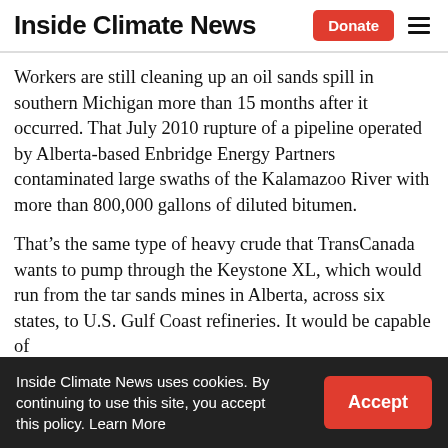Inside Climate News
Workers are still cleaning up an oil sands spill in southern Michigan more than 15 months after it occurred. That July 2010 rupture of a pipeline operated by Alberta-based Enbridge Energy Partners contaminated large swaths of the Kalamazoo River with more than 800,000 gallons of diluted bitumen.
That’s the same type of heavy crude that TransCanada wants to pump through the Keystone XL, which would run from the tar sands mines in Alberta, across six states, to U.S. Gulf Coast refineries. It would be capable of delivering more than 800,000 barrels a day.
Inside Climate News uses cookies. By continuing to use this site, you accept this policy. Learn More